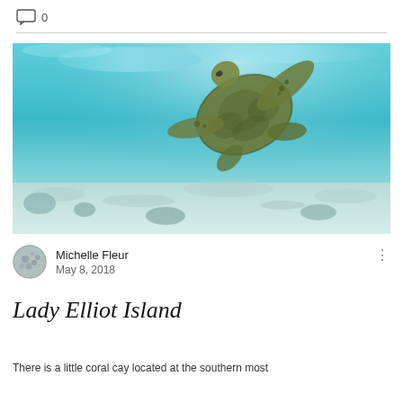0
[Figure (photo): Underwater photograph of a sea turtle swimming over a sandy sea floor with bright turquoise water and light filtering from above.]
Michelle Fleur
May 8, 2018
Lady Elliot Island
There is a little coral cay located at the southern most...